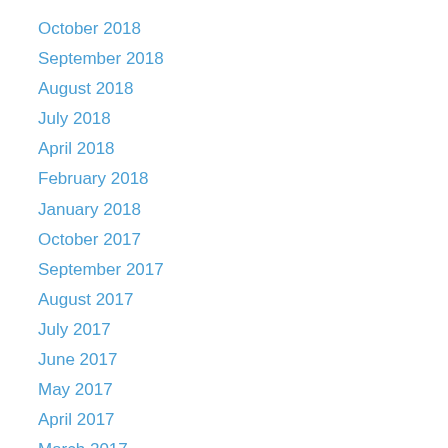October 2018
September 2018
August 2018
July 2018
April 2018
February 2018
January 2018
October 2017
September 2017
August 2017
July 2017
June 2017
May 2017
April 2017
March 2017
February 2017
January 2017
December 2016
November 2016
October 2016